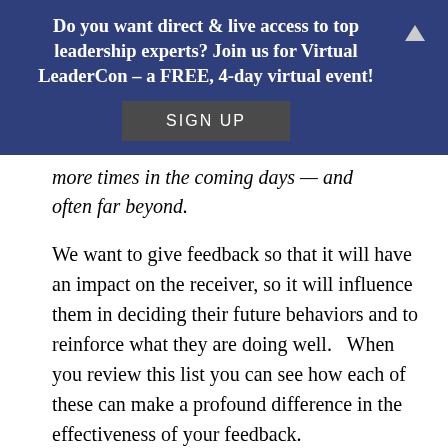Do you want direct & live access to top leadership experts? Join us for Virtual LeaderCon – a FREE, 4-day virtual event!
SIGN UP
more times in the coming days — and often far beyond.
We want to give feedback so that it will have an impact on the receiver, so it will influence them in deciding their future behaviors and to reinforce what they are doing well.   When you review this list you can see how each of these can make a profound difference in the effectiveness of your feedback.
Here are two questions to close: